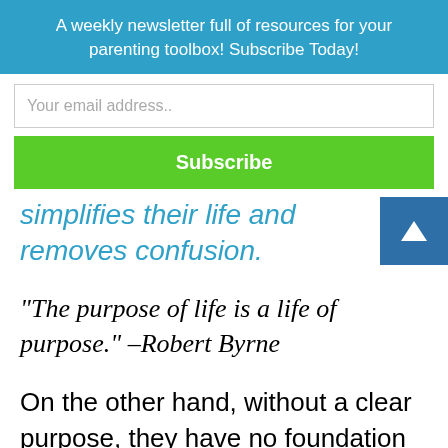A weekly newsletter full of resources for your parenting toolbox! Subscribe Today!
Your email address..
Subscribe
simplifies their life and removes confusion.
“The purpose of life is a life of purpose.” –Robert Byrne
On the other hand, without a clear purpose, they have no foundation on which to base decisions, allocate their